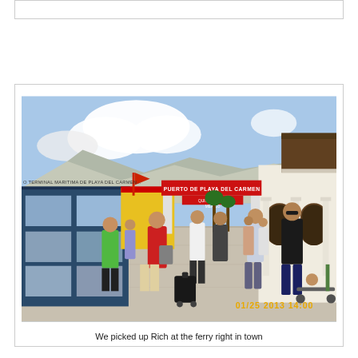[Figure (photo): Partial view of a bordered box/card at top of page, mostly cut off]
[Figure (photo): Outdoor photograph of Puerto de Playa del Carmen ferry terminal area in Mexico, dated 01/25/2013 14:00. People are walking on a wide pedestrian promenade. A large red and white sign reads 'PUERTO DE PLAYA DEL CARMEN'. On the left is a display board with photos. Tourists and locals mill about. White colonial-style building on the right with arches and columns. A thatched-roof structure visible upper right. Palm trees in the background under partly cloudy sky.]
We picked up Rich at the ferry right in town